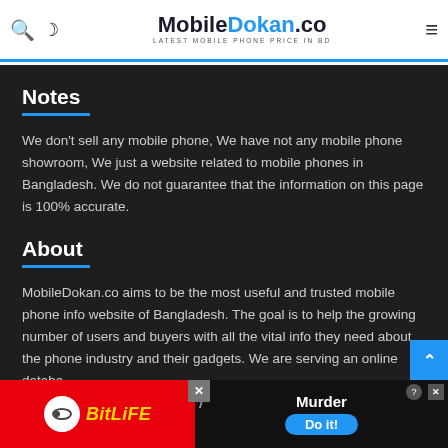MobileDokan.co — Latest Mobile Phone Price in BD
Notes
We don't sell any mobile phone, We have not any mobile phone showroom, We just a website related to mobile phones in Bangladesh. We do not guarantee that the information on this page is 100% accurate.
About
MobileDokan.co aims to be the most useful and trusted mobile phone info website of Bangladesh. The goal is to help the growing number of users and buyers with all the vital info they need about the phone industry and their gadgets. We are serving an online database of the latest mobile phone models from the world's leading brands, providing full specifications, prices, news, reviews,
[Figure (screenshot): BitLife ad banner and Murder Do it ad at the bottom of the page, with close (X) buttons visible]